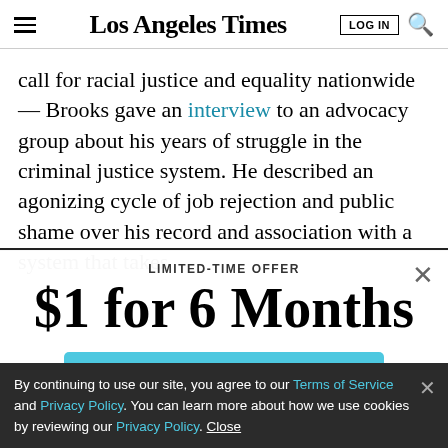Los Angeles Times
call for racial justice and equality nationwide — Brooks gave an interview to an advocacy group about his years of struggle in the criminal justice system. He described an agonizing cycle of job rejection and public shame over his record and association with a system that takes
[Figure (screenshot): Paywall subscription offer modal: LIMITED-TIME OFFER / $1 for 6 Months / SUBSCRIBE NOW button]
By continuing to use our site, you agree to our Terms of Service and Privacy Policy. You can learn more about how we use cookies by reviewing our Privacy Policy. Close